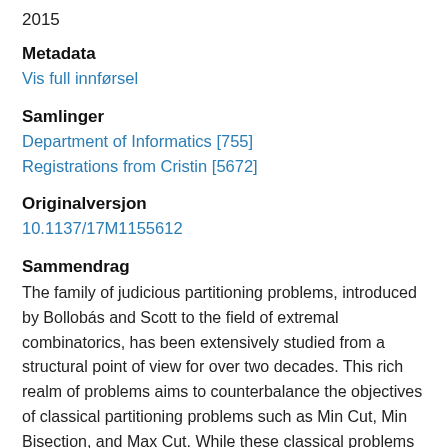2015
Metadata
Vis full innførsel
Samlinger
Department of Informatics [755]
Registrations from Cristin [5672]
Originalversjon
10.1137/17M1155612
Sammendrag
The family of judicious partitioning problems, introduced by Bollobás and Scott to the field of extremal combinatorics, has been extensively studied from a structural point of view for over two decades. This rich realm of problems aims to counterbalance the objectives of classical partitioning problems such as Min Cut, Min Bisection, and Max Cut. While these classical problems focus solely on the